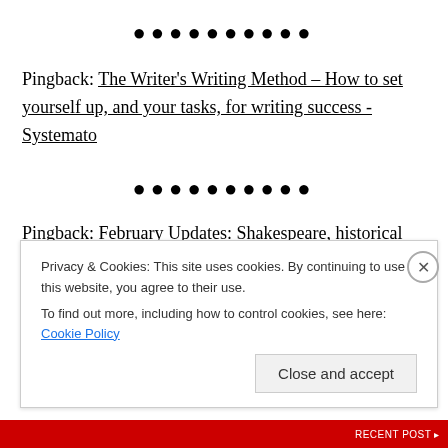••••••••••
Pingback: The Writer's Writing Method – How to set yourself up, and your tasks, for writing success - Systemato
••••••••••
Pingback: February Updates: Shakespeare, historical
Privacy & Cookies: This site uses cookies. By continuing to use this website, you agree to their use.
To find out more, including how to control cookies, see here: Cookie Policy
Close and accept